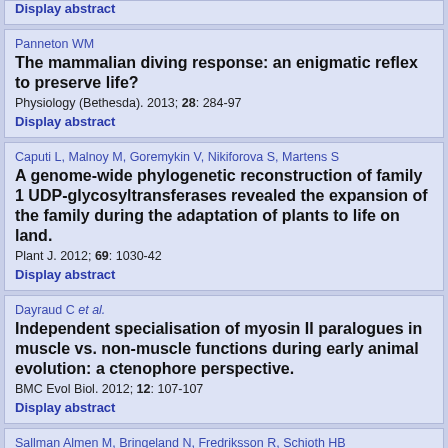Display abstract
Panneton WM
The mammalian diving response: an enigmatic reflex to preserve life?
Physiology (Bethesda). 2013; 28: 284-97
Display abstract
Caputi L, Malnoy M, Goremykin V, Nikiforova S, Martens S
A genome-wide phylogenetic reconstruction of family 1 UDP-glycosyltransferases revealed the expansion of the family during the adaptation of plants to life on land.
Plant J. 2012; 69: 1030-42
Display abstract
Dayraud C et al.
Independent specialisation of myosin II paralogues in muscle vs. non-muscle functions during early animal evolution: a ctenophore perspective.
BMC Evol Biol. 2012; 12: 107-107
Display abstract
Sallman Almen M, Bringeland N, Fredriksson R, Schioth HB
The dispanins: a novel gene family of ancient origin that contains 14 human members